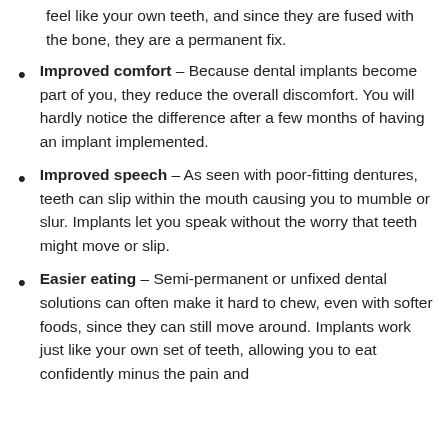feel like your own teeth, and since they are fused with the bone, they are a permanent fix.
Improved comfort – Because dental implants become part of you, they reduce the overall discomfort. You will hardly notice the difference after a few months of having an implant implemented.
Improved speech – As seen with poor-fitting dentures, teeth can slip within the mouth causing you to mumble or slur. Implants let you speak without the worry that teeth might move or slip.
Easier eating – Semi-permanent or unfixed dental solutions can often make it hard to chew, even with softer foods, since they can still move around. Implants work just like your own set of teeth, allowing you to eat confidently minus the pain and